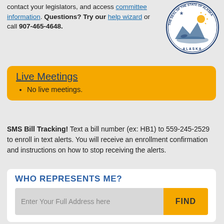contact your legislators, and access committee information. Questions? Try our help wizard or call 907-465-4648.
[Figure (logo): Seal of the State of Alaska, circular emblem with mountain and water scene]
Live Meetings
No live meetings.
SMS Bill Tracking! Text a bill number (ex: HB1) to 559-245-2529 to enroll in text alerts. You will receive an enrollment confirmation and instructions on how to stop receiving the alerts.
WHO REPRESENTS ME?
Enter Your Full Address here
FIND